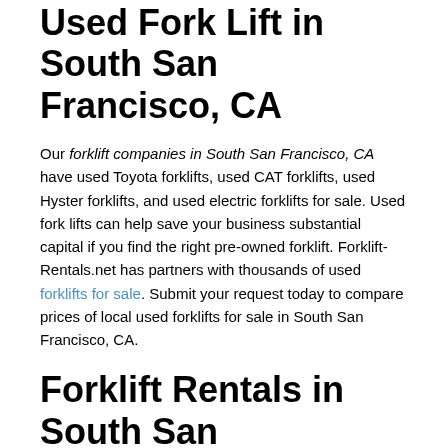Used Fork Lift in South San Francisco, CA
Our forklift companies in South San Francisco, CA have used Toyota forklifts, used CAT forklifts, used Hyster forklifts, and used electric forklifts for sale. Used fork lifts can help save your business substantial capital if you find the right pre-owned forklift. Forklift-Rentals.net has partners with thousands of used forklifts for sale. Submit your request today to compare prices of local used forklifts for sale in South San Francisco, CA.
Forklift Rentals in South San Francisco, CA
Looking to rent a forklift in South San Francisco, CA? Searching for a forklift rental service in South